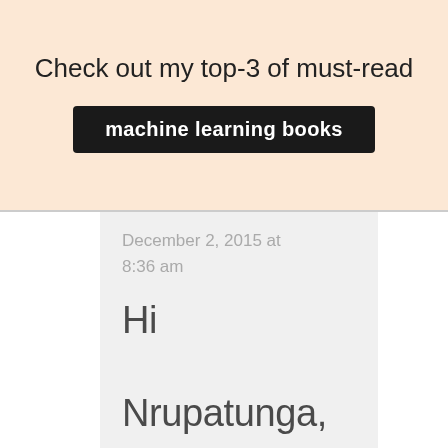Check out my top-3 of must-read
machine learning books
December 2, 2015 at 8:36 am
Hi Nrupatunga, Usually, we normalize